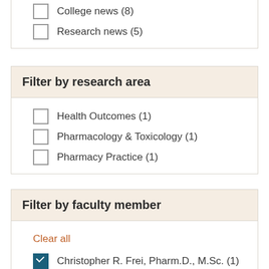College news (8)
Research news (5)
Filter by research area
Health Outcomes (1)
Pharmacology & Toxicology (1)
Pharmacy Practice (1)
Filter by faculty member
Clear all
Christopher R. Frei, Pharm.D., M.Sc. (1)